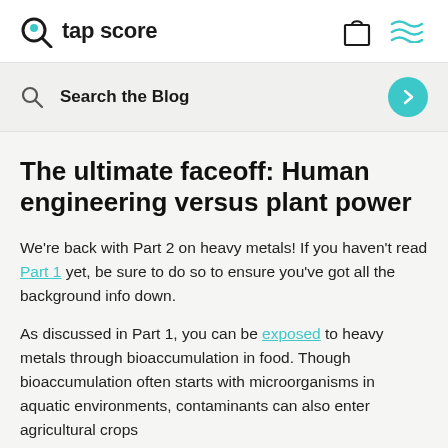tap score
Search the Blog
The ultimate faceoff: Human engineering versus plant power
We’re back with Part 2 on heavy metals! If you haven’t read Part 1 yet, be sure to do so to ensure you’ve got all the background info down.
As discussed in Part 1, you can be exposed to heavy metals through bioaccumulation in food. Though bioaccumulation often starts with microorganisms in aquatic environments, contaminants can also enter agricultural crops